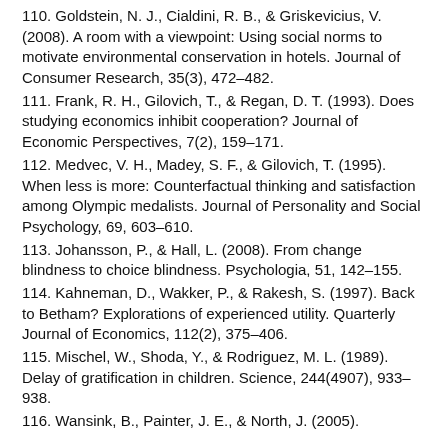110. Goldstein, N. J., Cialdini, R. B., & Griskevicius, V. (2008). A room with a viewpoint: Using social norms to motivate environmental conservation in hotels. Journal of Consumer Research, 35(3), 472–482.
111. Frank, R. H., Gilovich, T., & Regan, D. T. (1993). Does studying economics inhibit cooperation? Journal of Economic Perspectives, 7(2), 159–171.
112. Medvec, V. H., Madey, S. F., & Gilovich, T. (1995). When less is more: Counterfactual thinking and satisfaction among Olympic medalists. Journal of Personality and Social Psychology, 69, 603–610.
113. Johansson, P., & Hall, L. (2008). From change blindness to choice blindness. Psychologia, 51, 142–155.
114. Kahneman, D., Wakker, P., & Rakesh, S. (1997). Back to Betham? Explorations of experienced utility. Quarterly Journal of Economics, 112(2), 375–406.
115. Mischel, W., Shoda, Y., & Rodriguez, M. L. (1989). Delay of gratification in children. Science, 244(4907), 933–938.
116. Wansink, B., Painter, J. E., & North, J. (2005).